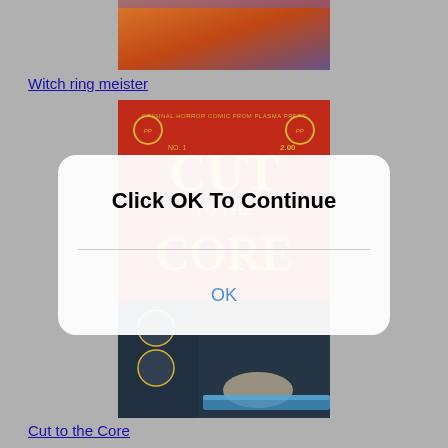[Figure (illustration): Partial view of a comic book cover at top - King of Thunder or similar fantasy title with orange/purple gradient colors]
Witch ring meister
[Figure (illustration): Comic book cover for 'CUT TO THE CORE' - Original Horror Comic from Plasma Press, No. 1 Oct, price $2.00. Red background with large yellow title text and illustration of a figure below]
Click OK To Continue
OK
Cut to the Core